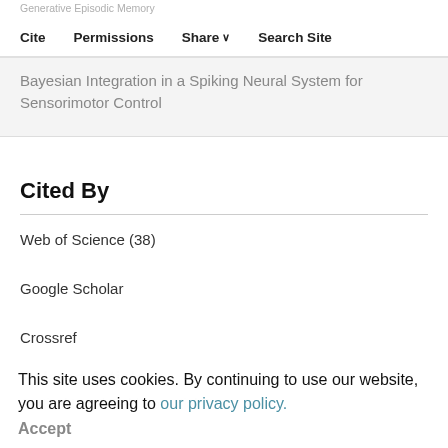Cite  Permissions  Share  Search Site
Bayesian Integration in a Spiking Neural System for Sensorimotor Control
Cited By
Web of Science (38)
Google Scholar
Crossref
This site uses cookies. By continuing to use our website, you are agreeing to our privacy policy. Accept
Related Articles
Cortical Local Field Potential Power Is